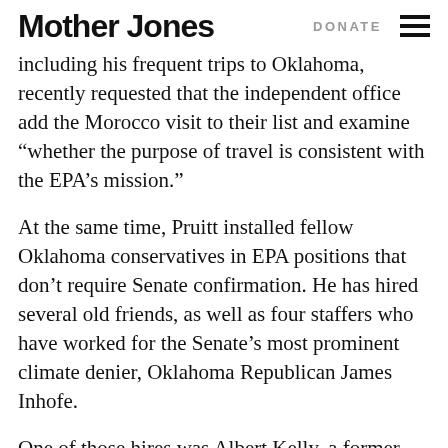Mother Jones  DONATE
including his frequent trips to Oklahoma, recently requested that the independent office add the Morocco visit to their list and examine “whether the purpose of travel is consistent with the EPA’s mission.”
At the same time, Pruitt installed fellow Oklahoma conservatives in EPA positions that don’t require Senate confirmation. He has hired several old friends, as well as four staffers who have worked for the Senate’s most prominent climate denier, Oklahoma Republican James Inhofe.
One of those hires was Albert Kelly, a former banker with no environmental experience, whose company